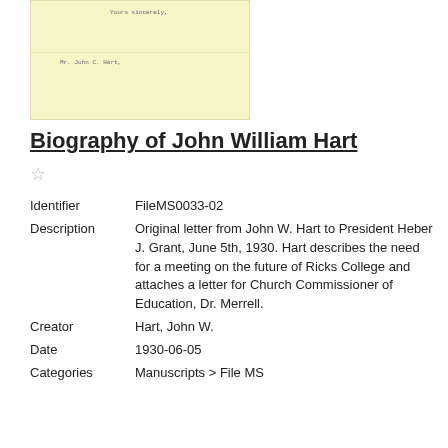[Figure (photo): Thumbnail of a handwritten/typed letter on pale yellow paper, with faint text visible near the top and middle of the document.]
Biography of John William Hart
☆
| Identifier | FileMS0033-02 |
| Description | Original letter from John W. Hart to President Heber J. Grant, June 5th, 1930. Hart describes the need for a meeting on the future of Ricks College and attaches a letter for Church Commissioner of Education, Dr. Merrell. |
| Creator | Hart, John W. |
| Date | 1930-06-05 |
| Categories | Manuscripts > File MS |